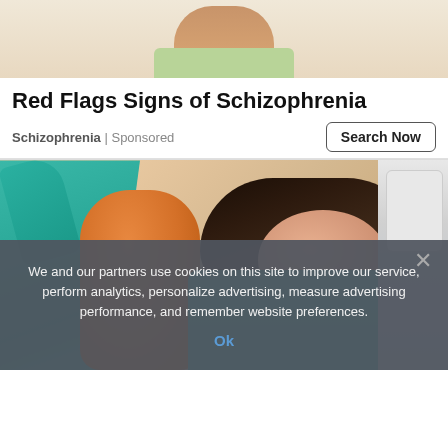[Figure (photo): Cropped top portion showing a person's neck and light green shirt collar, top of a head barely visible]
Red Flags Signs of Schizophrenia
Schizophrenia | Sponsored
[Figure (photo): A young woman with long dark hair sitting in a dental/medical chair, smiling and looking down. A dental professional in teal scrubs and gloves is visible on the left. Medical equipment visible on the right.]
We and our partners use cookies on this site to improve our service, perform analytics, personalize advertising, measure advertising performance, and remember website preferences.
Ok